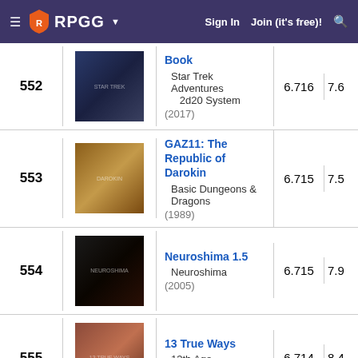RPGG | Sign In | Join (it's free)!
| Rank | Cover | Title / System / Year | Rating | Score |
| --- | --- | --- | --- | --- |
| 552 | [image] | Book
Star Trek Adventures 2d20 System
(2017) | 6.716 | 7.6 |
| 553 | [image] | GAZ11: The Republic of Darokin
Basic Dungeons & Dragons
(1989) | 6.715 | 7.5 |
| 554 | [image] | Neuroshima 1.5
Neuroshima
(2005) | 6.715 | 7.9 |
| 555 | [image] | 13 True Ways
13th Age
(2014) | 6.714 | 8.4 |
| 556 | [image] | Warhammer Fantasy Roleplay: Game Master's Guide
Warhammer Fantasy Roleplay | 6.713 | 7.6 |